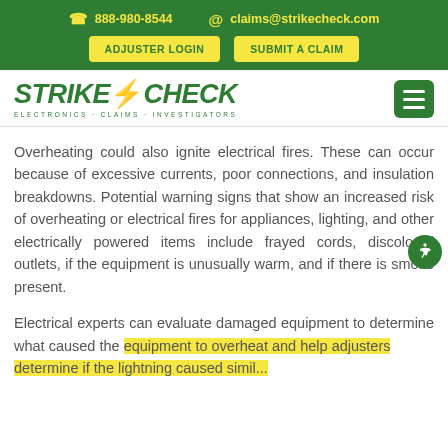888-980-8544   claims@strikecheck.com   ADJUSTER LOGIN   SUBMIT A CLAIM
[Figure (logo): StrikeCheck Electronics Claims Investigators logo with lightning bolt and hamburger menu button]
Overheating could also ignite electrical fires. These can occur because of excessive currents, poor connections, and insulation breakdowns. Potential warning signs that show an increased risk of overheating or electrical fires for appliances, lighting, and other electrically powered items include frayed cords, discolored outlets, if the equipment is unusually warm, and if there is smoke present.
Electrical experts can evaluate damaged equipment to determine what caused the equipment to overheat and help adjusters determine if the lightning caused similar...